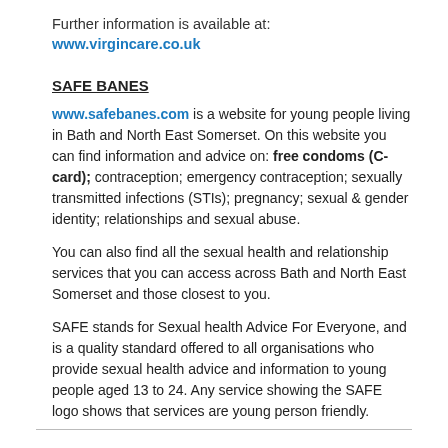Further information is available at: www.virgincare.co.uk
SAFE BANES
www.safebanes.com is a website for young people living in Bath and North East Somerset. On this website you can find information and advice on: free condoms (C-card); contraception; emergency contraception; sexually transmitted infections (STIs); pregnancy; sexual & gender identity; relationships and sexual abuse.
You can also find all the sexual health and relationship services that you can access across Bath and North East Somerset and those closest to you.
SAFE stands for Sexual health Advice For Everyone, and is a quality standard offered to all organisations who provide sexual health advice and information to young people aged 13 to 24. Any service showing the SAFE logo shows that services are young person friendly.